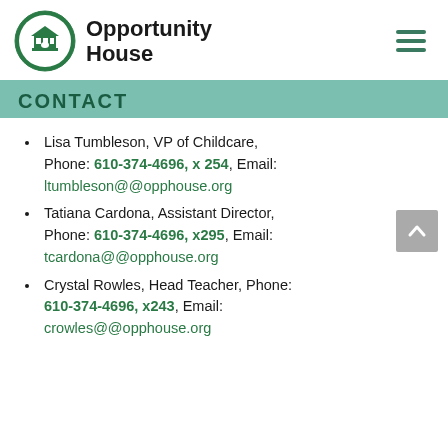Opportunity House
CONTACT
Lisa Tumbleson, VP of Childcare, Phone: 610-374-4696, x 254, Email: ltumbleson@@opphouse.org
Tatiana Cardona, Assistant Director, Phone: 610-374-4696, x295, Email: tcardona@@opphouse.org
Crystal Rowles, Head Teacher, Phone: 610-374-4696, x243, Email: crowles@@opphouse.org